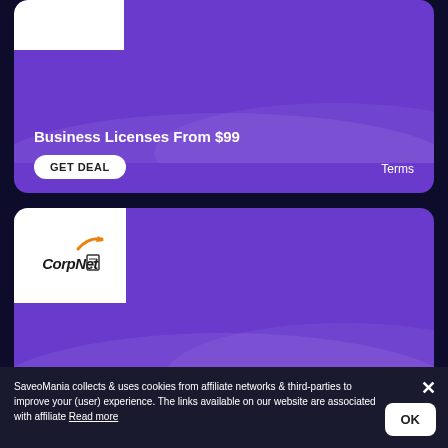[Figure (screenshot): Purple card with white logo box in top-left corner and decorative wave pattern]
Business Licenses From $99
GET DEAL
Terms
[Figure (logo): CorpNet logo with orange swoosh and italic bold text on white background]
Incorporate a Business Now: $79
GET DEAL
Terms
SaveoMania collects & uses cookies from affiliate networks & third-parties to improve your (user) experience. The links available on our website are associated with affiliate Read more
OK